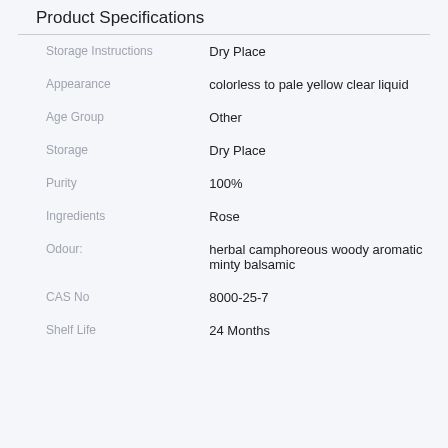Product Specifications
| Attribute | Value |
| --- | --- |
| Storage Instructions | Dry Place |
| Appearance | colorless to pale yellow clear liquid |
| Age Group | Other |
| Storage | Dry Place |
| Purity | 100% |
| Ingredients | Rose |
| Odour: | herbal camphoreous woody aromatic minty balsamic |
| CAS No | 8000-25-7 |
| Shelf Life | 24 Months |